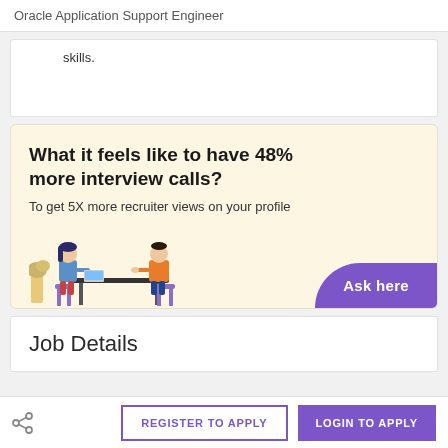Oracle Application Support Engineer
skills.
[Figure (illustration): Promotional banner with cream background. Bold text: 'What it feels like to have 48% more interview calls?' Subtitle: 'To get 5X more recruiter views on your profile'. Illustration of two people sitting at a table. Purple 'Ask here' button in bottom right.]
Job Details
REGISTER TO APPLY  LOGIN TO APPLY